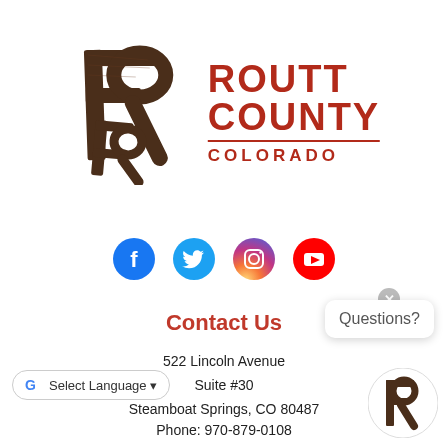[Figure (logo): Routt County Colorado logo with stylized R mark in dark brown and red text reading ROUTT COUNTY COLORADO]
[Figure (infographic): Row of social media icons: Facebook (blue circle with f), Twitter (blue circle with bird), Instagram (gradient circle with camera), YouTube (red circle with play button)]
Contact Us
522 Lincoln Avenue
Suite #30
Steamboat Springs, CO 80487
[Figure (other): Questions? chat bubble popup with close X button]
[Figure (logo): Small Routt County R logo in bottom right corner]
Select Language dropdown (Google Translate widget)
Phone: 970-879-0108